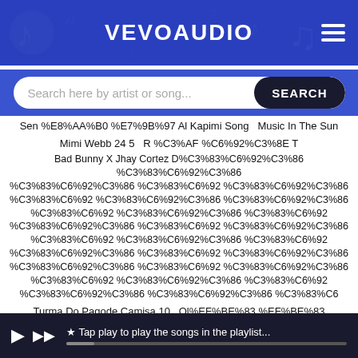VEVOAUDIO
Search here by artist or song...
Sen %E8%AA%B0 %E7%9B%97 Al Kapimi Song  Music In The Sun
Mimi Webb 24 5  R %C3%AF %C6%92%C3%8E T
Bad Bunny X Jhay Cortez D%C3%83%C6%92%C3%86 %C3%83%C6%92 %C3%83%C6%92%C3%86 %C3%83%C6%92 %C3%83%C6%92%C3%86 %C3%83%C6%92 %C3%83%C6%92%C3%86 %C3%83%C6%92%C3%86 %C3%83%C6%92 %C3%83%C6%92%C3%86 %C3%83%C6%92 %C3%83%C6%92%C3%86 %C3%83%C6%92 %C3%83%C6%92%C3%86 %C3%83%C6%92 %C3%83%C6%92%C3%86 %C3%83%C6%92%C3%86 %C3%83%C6%92 %C3%83%C6%92%C3%86 %C3%83%C6%92 %C3%83%C6%92%C3%86 %C3%83%C6%92 %C3%83%C6%92%C3%86 %C3%83%C6%92%C3%86 %C3%83%C6%92 %C3%83%C6%92%C3%86 %C3%83%C6%92 %C3%83%C6%92%C3%86 %C3%83%C6%92 %C3%83%C6%92%C3%86 %C3%83%C6%92%C3%86 %C3%83%C6%92 %C3%83%C6%92%C3%86 %C3%83%C6
Turma Do Pagode Camisa 10  Ol%EF%BE%83 %EF%BE%83
Ra %EF%BE%83 %EF%BE%83 %EF%BE%82 %EF%BE%85 %EF%BE%83 %EF%BE%83 A Negra Cheia De Manias
%E7%8A%96 %E7%8A%96%E7%99%8C%EF%BD%B6 %E7%8A%96 %EF%BD%B6
Phi A Title
★ Tap play to play the songs in the playlist...